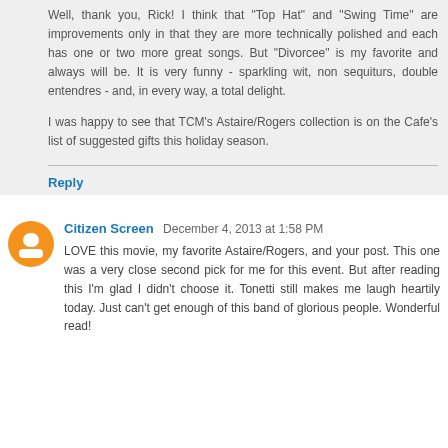Well, thank you, Rick! I think that "Top Hat" and "Swing Time" are improvements only in that they are more technically polished and each has one or two more great songs. But "Divorcee" is my favorite and always will be. It is very funny - sparkling wit, non sequiturs, double entendres - and, in every way, a total delight.

I was happy to see that TCM's Astaire/Rogers collection is on the Cafe's list of suggested gifts this holiday season.
Reply
Citizen Screen  December 4, 2013 at 1:58 PM
LOVE this movie, my favorite Astaire/Rogers, and your post. This one was a very close second pick for me for this event. But after reading this I'm glad I didn't choose it. Tonetti still makes me laugh heartily today. Just can't get enough of this band of glorious people. Wonderful read!